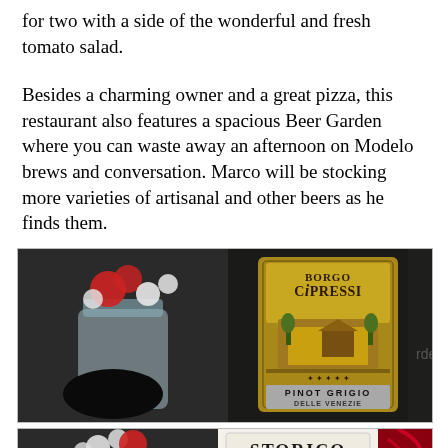for two with a side of the wonderful and fresh tomato salad.
Besides a charming owner and a great pizza, this restaurant also features a spacious Beer Garden where you can waste away an afternoon on Modelo brews and conversation. Marco will be stocking more varieties of artisanal and other beers as he finds them.
[Figure (photo): Photo of a wine bottle labeled 'Borgo Cipressi Pinot Grigio Delle Venezie' next to a mason jar with flowers (red and white), dark background, with partial text 'rden' visible on right edge]
[Figure (photo): Partial photo showing bottom of image with a wine bottle labeled 'STORICO', a mason jar with flowers, and a dark red bottle on the right]